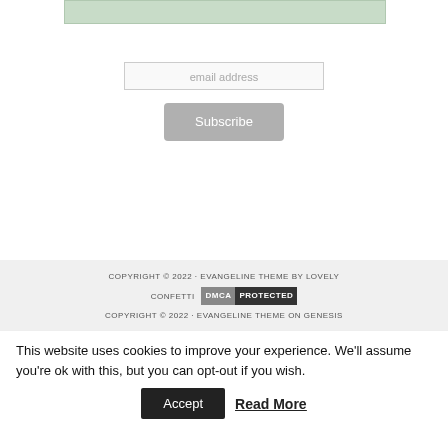[Figure (screenshot): Partial green-tinted subscribe bar at top of page]
email address
Subscribe
COPYRIGHT © 2022 · EVANGELINE THEME BY LOVELY CONFETTI [DMCA PROTECTED] COPYRIGHT © 2022 · EVANGELINE THEME ON GENESIS
This website uses cookies to improve your experience. We'll assume you're ok with this, but you can opt-out if you wish.
Accept
Read More